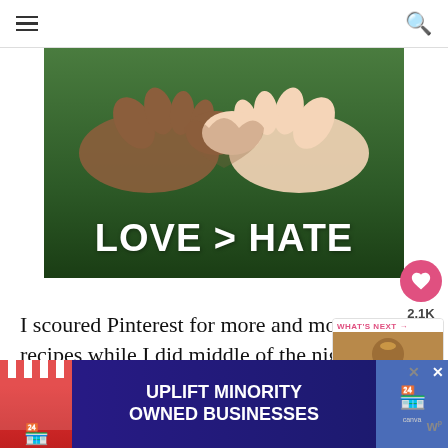[Figure (photo): Two hands from people of different skin tones forming a heart shape against a green nature background, with white bold text overlay reading 'LOVE > HATE']
I scoured Pinterest for more and recipes while I did middle of the night
[Figure (screenshot): What's Next widget showing 'Delicious & Easy Fall...' with a coffee/latte image]
[Figure (infographic): Advertisement banner: UPLIFT MINORITY OWNED BUSINESSES with storefront illustration]